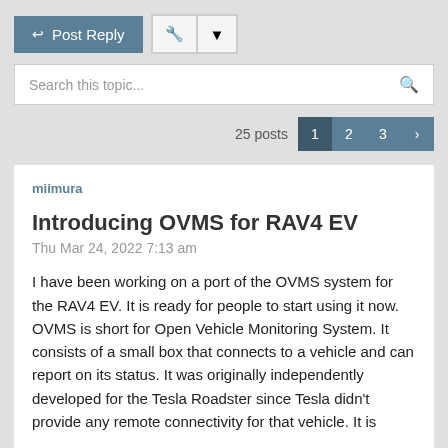Post Reply | Tools dropdown
Search this topic...
25 posts  1  2  3  >
miimura
Introducing OVMS for RAV4 EV
Thu Mar 24, 2022 7:13 am
I have been working on a port of the OVMS system for the RAV4 EV. It is ready for people to start using it now. OVMS is short for Open Vehicle Monitoring System. It consists of a small box that connects to a vehicle and can report on its status. It was originally independently developed for the Tesla Roadster since Tesla didn't provide any remote connectivity for that vehicle. It is